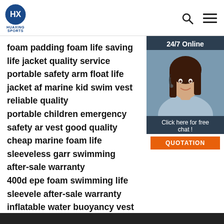HUAXING SPORTS
foam padding foam life saving life jacket quality service
portable safety arm float life jacket af marine kid swim vest reliable quality
portable children emergency safety ar vest good quality
cheap marine foam life sleeveless garr swimming after-sale warranty
400d epe foam swimming life sleevele after-sale warranty
inflatable water buoyancy vest large f pattern cartoon inflatable sleeveless g made
leisure safety life vest oem surfing life luster
coatstal sailboat baby kids life jacket affordable neo life men s safety arm float life sleeveless garment magnificent colorful
[Figure (photo): Customer service representative woman wearing headset, smiling, with 24/7 Online label and chat widget overlay]